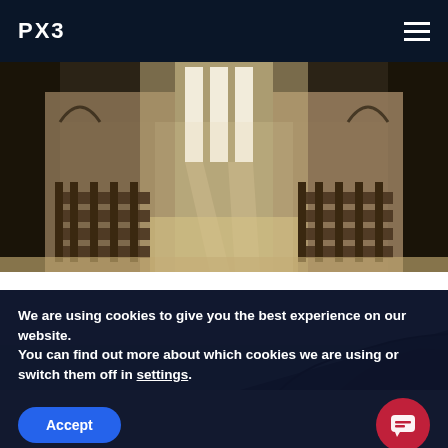PX3
[Figure (photo): Interior of a large stone church or cathedral with wooden pews on both sides, tall narrow windows letting in bright light, and a central aisle leading to the altar. Stone brick walls and Gothic arched ceiling.]
[Figure (photo): Low-angle view looking up at a stone rooftop or architectural detail against a pale blue sky.]
We are using cookies to give you the best experience on our website.
You can find out more about which cookies we are using or switch them off in settings.
Accept